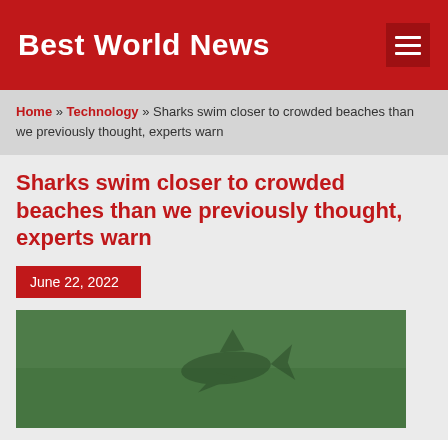Best World News
Home » Technology » Sharks swim closer to crowded beaches than we previously thought, experts warn
Sharks swim closer to crowded beaches than we previously thought, experts warn
June 22, 2022
[Figure (photo): Underwater photo showing a shark silhouette in murky green water]